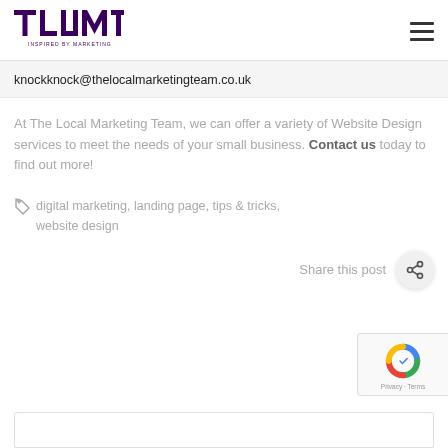TLMT - The Local Marketing Team logo and navigation
knockknock@thelocalmarketingteam.co.uk
At The Local Marketing Team, we can offer a variety of Website Design services to meet the needs of your small business. Contact us today to find out more!
digital marketing, landing page, tips & tricks, website design
Share this post
[Figure (logo): reCAPTCHA privacy badge in bottom right corner]